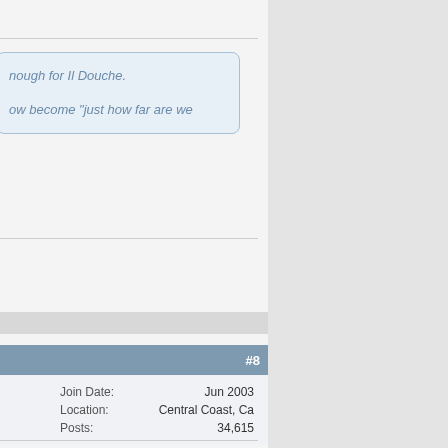nough for Il Douche.
ow become "just how far are we
#8
| Join Date: | Jun 2003 |
| Location: | Central Coast, Ca |
| Posts: | 34,615 |